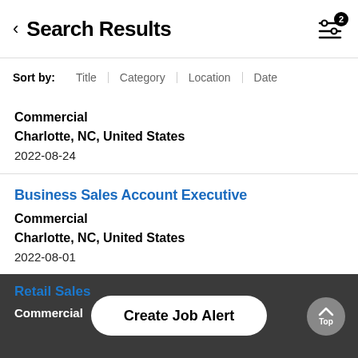< Search Results
Sort by: Title | Category | Location | Date
Commercial
Charlotte, NC, United States
2022-08-24
Business Sales Account Executive
Commercial
Charlotte, NC, United States
2022-08-01
Retail Sales
Commercial
Create Job Alert